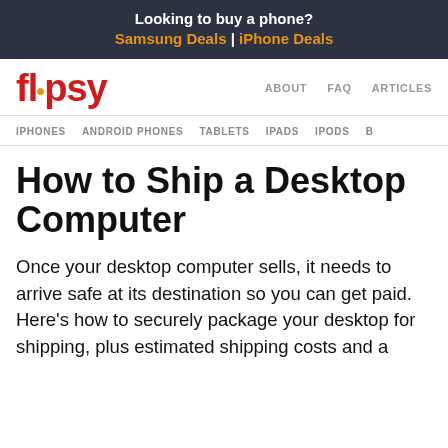Looking to buy a phone? Samsung Deals | iPhone Deals
[Figure (logo): Flipsy logo in red with orange dot replacing the 'i']
ABOUT  FAQ  ARTICLES
IPHONES  ANDROID PHONES  TABLETS  IPADS  IPODS  B…
How to Ship a Desktop Computer
Once your desktop computer sells, it needs to arrive safe at its destination so you can get paid. Here's how to securely package your desktop for shipping, plus estimated shipping costs and a